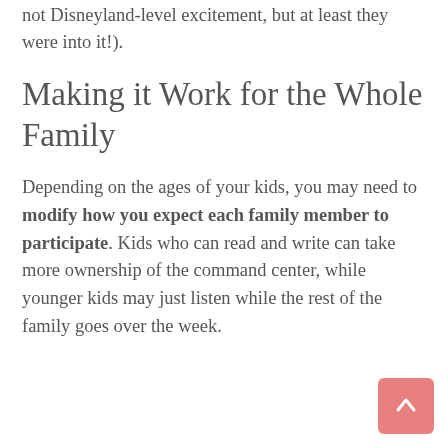not Disneyland-level excitement, but at least they were into it!).
Making it Work for the Whole Family
Depending on the ages of your kids, you may need to modify how you expect each family member to participate. Kids who can read and write can take more ownership of the command center, while younger kids may just listen while the rest of the family goes over the week.